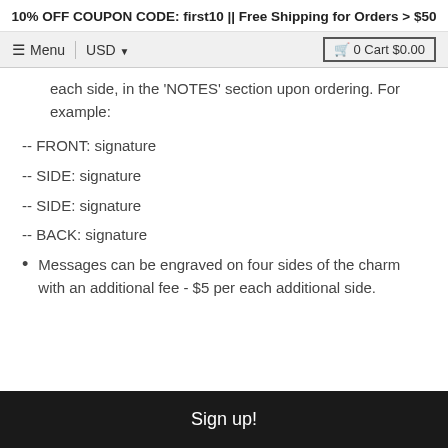10% OFF COUPON CODE: first10 || Free Shipping for Orders > $50
≡ Menu | USD ▾   🛒 0 Cart $0.00
each side, in the 'NOTES' section upon ordering. For example:
-- FRONT: signature
-- SIDE: signature
-- SIDE: signature
-- BACK: signature
Messages can be engraved on four sides of the charm with an additional fee - $5 per each additional side.
Sign up!